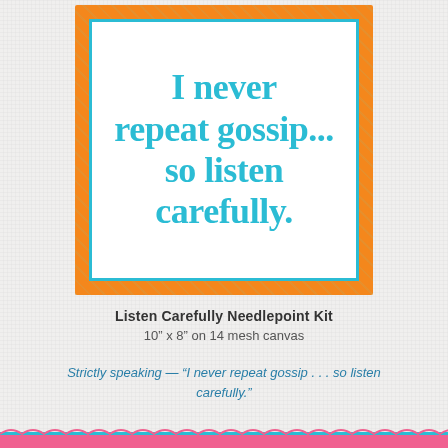[Figure (illustration): Needlepoint kit design showing a white rectangular canvas with teal/turquoise text reading 'I never repeat gossip... so listen carefully.' surrounded by an orange decorative border with leaf patterns and a teal inner border frame.]
Listen Carefully Needlepoint Kit
10” x 8” on 14 mesh canvas
Strictly speaking — “I never repeat gossip . . . so listen carefully.”